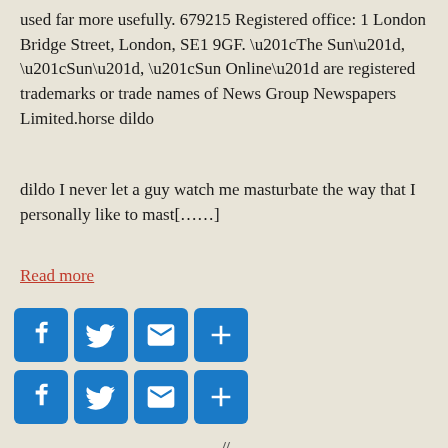used far more usefully. 679215 Registered office: 1 London Bridge Street, London, SE1 9GF. “The Sun”, “Sun”, “Sun Online” are registered trademarks or trade names of News Group Newspapers Limited.horse dildo
dildo I never let a guy watch me masturbate the way that I personally like to mast[……]
Read more
[Figure (other): Two rows of social media share buttons: Facebook, Twitter, Email, and Add/Share icons in blue rounded squares]
// (divider)
SEX TOYS